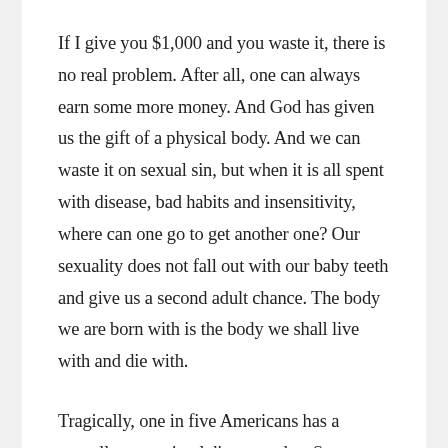If I give you $1,000 and you waste it, there is no real problem. After all, one can always earn some more money. And God has given us the gift of a physical body. And we can waste it on sexual sin, but when it is all spent with disease, bad habits and insensitivity, where can one go to get another one? Our sexuality does not fall out with our baby teeth and give us a second adult chance. The body we are born with is the body we shall live with and die with.
Tragically, one in five Americans has a sexually transmitted disease today. Some forms of venereal disease are incurable and cause